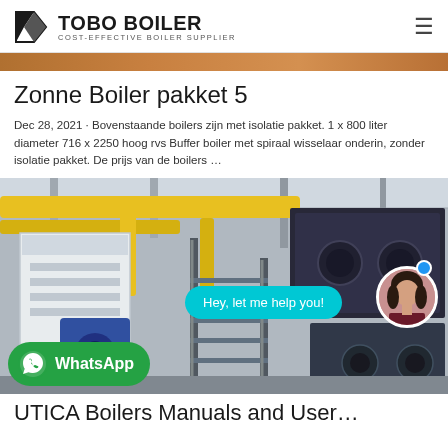TOBO BOILER — COST-EFFECTIVE BOILER SUPPLIER
Zonne Boiler pakket 5
Dec 28, 2021 · Bovenstaande boilers zijn met isolatie pakket. 1 x 800 liter diameter 716 x 2250 hoog rvs Buffer boiler met spiraal wisselaar onderin, zonder isolatie pakket. De prijs van de boilers …
[Figure (photo): Industrial boiler facility interior with yellow pipes, blue boiler units and staircase. Chat overlay with 'Hey, let me help you!' bubble, avatar of a woman, and a WhatsApp button.]
UTICA Boilers Manuals and User…